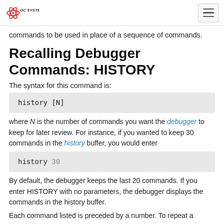OC SYSTEMS
commands to be used in place of a sequence of commands.
Recalling Debugger Commands: HISTORY
The syntax for this command is:
where N is the number of commands you want the debugger to keep for later review. For instance, if you wanted to keep 30 commands in the history buffer, you would enter
By default, the debugger keeps the last 20 commands. If you enter HISTORY with no parameters, the debugger displays the commands in the history buffer.
Each command listed is preceded by a number. To repeat a